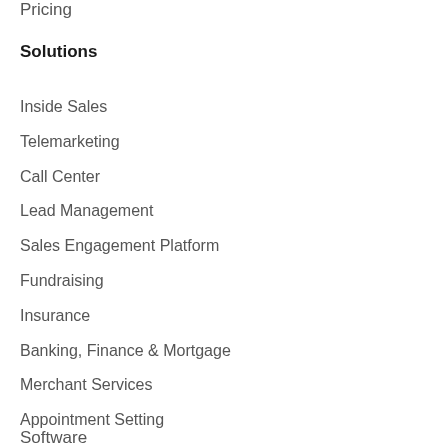Pricing
Solutions
Inside Sales
Telemarketing
Call Center
Lead Management
Sales Engagement Platform
Fundraising
Insurance
Banking, Finance & Mortgage
Merchant Services
Appointment Setting
Software